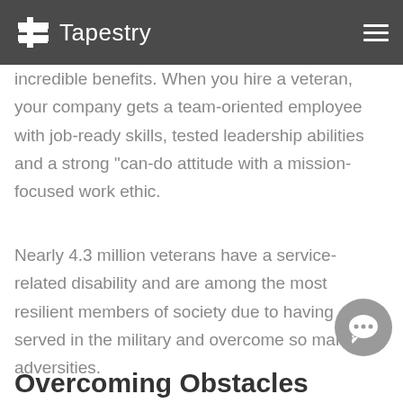Tapestry
employers already have are realizing the incredible benefits. When you hire a veteran, your company gets a team-oriented employee with job-ready skills, tested leadership abilities and a strong "can-do attitude with a mission-focused work ethic.
Nearly 4.3 million veterans have a service-related disability and are among the most resilient members of society due to having served in the military and overcome so many adversities.
Overcoming Obstacles